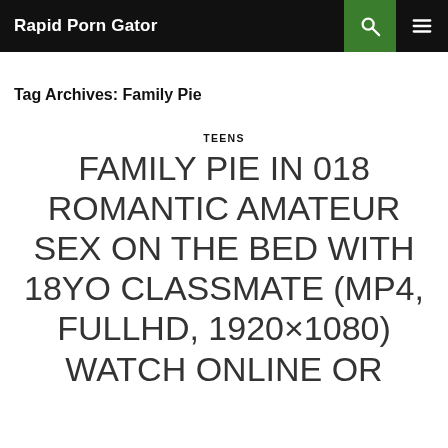Rapid Porn Gator
Tag Archives: Family Pie
TEENS
FAMILY PIE IN 018 ROMANTIC AMATEUR SEX ON THE BED WITH 18YO CLASSMATE (MP4, FULLHD, 1920×1080) WATCH ONLINE OR